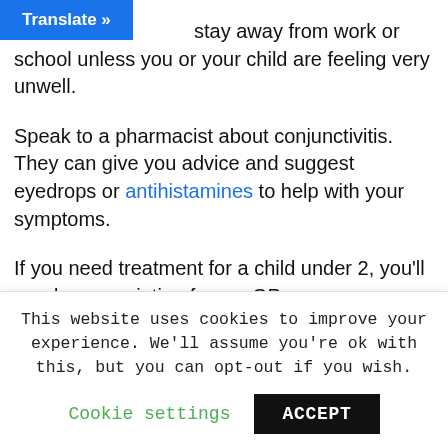[Figure (screenshot): Blue 'Translate »' browser translation bar at top left]
You do not need to stay away from work or school unless you or your child are feeling very unwell.
Speak to a pharmacist about conjunctivitis. They can give you advice and suggest eyedrops or antihistamines to help with your symptoms.
If you need treatment for a child under 2, you'll need a prescription from a GP.
Find a pharmacy
See a GP if:
your baby has red eyes – get an urgent appointment if
This website uses cookies to improve your experience. We'll assume you're ok with this, but you can opt-out if you wish.
Cookie settings  ACCEPT